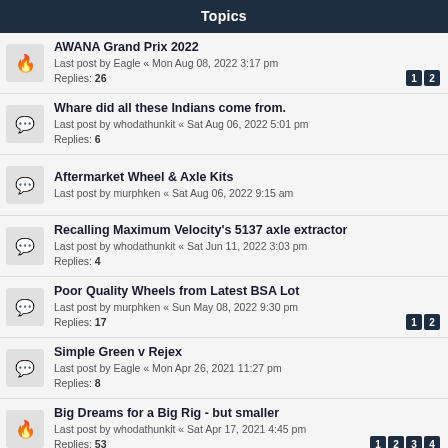Topics
AWANA Grand Prix 2022
Last post by Eagle « Mon Aug 08, 2022 3:17 pm
Replies: 26
Whare did all these Indians come from.
Last post by whodathunkit « Sat Aug 06, 2022 5:01 pm
Replies: 6
Aftermarket Wheel & Axle Kits
Last post by murphken « Sat Aug 06, 2022 9:15 am
Recalling Maximum Velocity's 5137 axle extractor
Last post by whodathunkit « Sat Jun 11, 2022 3:03 pm
Replies: 4
Poor Quality Wheels from Latest BSA Lot
Last post by murphken « Sun May 08, 2022 9:30 pm
Replies: 17
Simple Green v Rejex
Last post by Eagle « Mon Apr 26, 2021 11:27 pm
Replies: 8
Big Dreams for a Big Rig - but smaller
Last post by whodathunkit « Sat Apr 17, 2021 4:45 pm
Replies: 53
Far More Than Above and Beyond
Last post by Kindintentions « Fri Nov 20, 2020 9:21 pm
Replies: 1